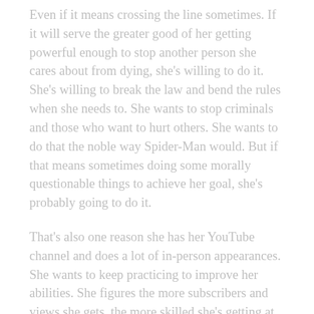Even if it means crossing the line sometimes.  If it will serve the greater good of her getting powerful enough to stop another person she cares about from dying, she's willing to do it.  She's willing to break the law and bend the rules when she needs to.  She wants to stop criminals and those who want to hurt others.  She wants to do that the noble way Spider-Man would.  But if that means sometimes doing some morally questionable things to achieve her goal, she's probably going to do it.
That's also one reason she has her YouTube channel and does a lot of in-person appearances.  She wants to keep practicing to improve her abilities.  She figures the more subscribers and views she gets, the more skilled she's getting at using her abilities.  She'll sometimes ask her viewers to do kooky things to see if her abilities are strong enough to get them to do it.  Nothing dangerous.  But stuff people wouldn't normally do, like smash a pie in their friend's face or do a crazy dance in the middle of a